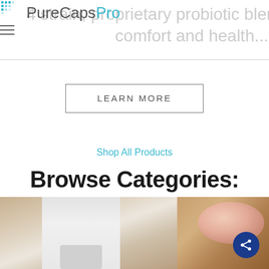PureCapsPro
4 strain, proprietary probiotic blend combined with i... comfort and health...
LEARN MORE
Shop All Products
Browse Categories:
[Figure (photo): Person in white lab coat on the left, petri dish with pink liquid on the right]